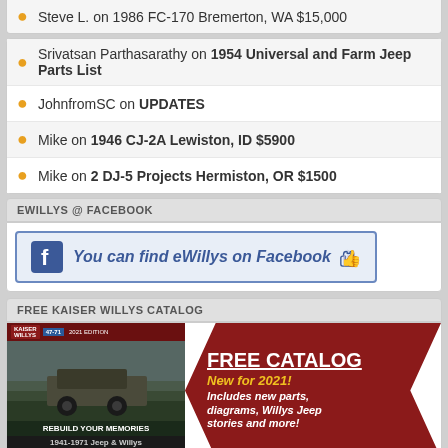Steve L. on 1986 FC-170 Bremerton, WA $15,000
Srivatsan Parthasarathy on 1954 Universal and Farm Jeep Parts List
JohnfromSC on UPDATES
Mike on 1946 CJ-2A Lewiston, ID $5900
Mike on 2 DJ-5 Projects Hermiston, OR $1500
EWILLYS @ FACEBOOK
[Figure (infographic): Facebook banner: You can find eWillys on Facebook with Facebook icon and thumbs up]
FREE KAISER WILLYS CATALOG
[Figure (infographic): Kaiser Willys catalog ad showing jeep image on left, red ribbon on right with FREE CATALOG text, New for 2021! Includes new parts, diagrams, Willys Jeep stories and more!]
SUNTEC WINDSHIELD REPLACEMENT OF GILBERT, AZ